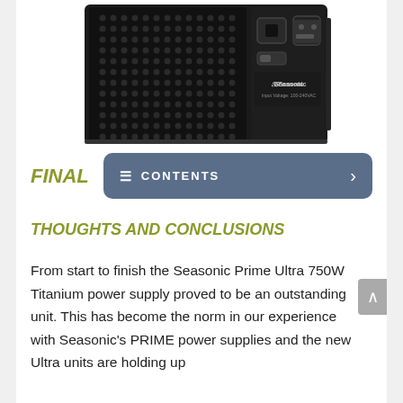[Figure (photo): Rear view of a Seasonic Prime Ultra 750W Titanium power supply unit, showing ventilation mesh, power switch, IEC connector, and Seasonic logo with 'Input Voltage: 100-240VAC' label. The unit is dark/black colored.]
FINAL
THOUGHTS AND CONCLUSIONS
From start to finish the Seasonic Prime Ultra 750W Titanium power supply proved to be an outstanding unit. This has become the norm in our experience with Seasonic's PRIME power supplies and the new Ultra units are holding up